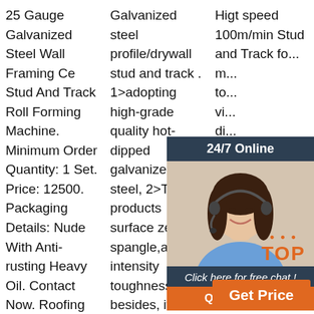25 Gauge Galvanized Steel Wall Framing Ce Stud And Track Roll Forming Machine. Minimum Order Quantity: 1 Set. Price: 12500. Packaging Details: Nude With Anti-rusting Heavy Oil. Contact Now. Roofing Sheet Capper
Galvanized steel profile/drywall stud and track . 1>adopting high-grade quality hot-dipped galvanized steel, 2>The products surface zero spangle,and intensity toughness, besides, it can add 20% more
Higt speed 100m/min Stud and Track fo... m... to... vi... di... a... fo... m... have developed a patented die shear with a ...
[Figure (other): 24/7 Online chat widget overlay with a photo of a woman wearing a headset, a 'Click here for free chat!' message, and a QUOTATION button]
TOP
Get Price